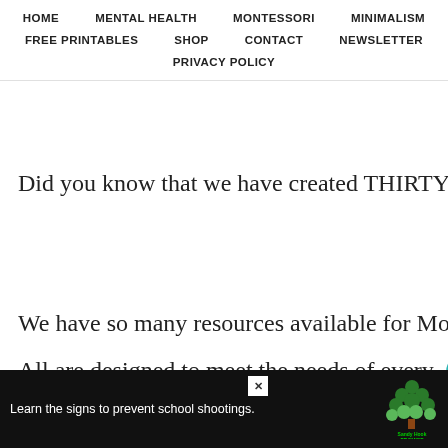HOME  MENTAL HEALTH  MONTESSORI  MINIMALISM  FREE PRINTABLES  SHOP  CONTACT  NEWSLETTER  PRIVACY POLICY
Did you know that we have created THIRTY bundl
We have so many resources available for Montesso
All are designed to meet the needs of every [heart] d i
[Figure (screenshot): Sandy Hook Promise advertisement banner: 'Learn the signs to prevent school shootings.' with Sandy Hook Promise logo on dark background, close button visible]